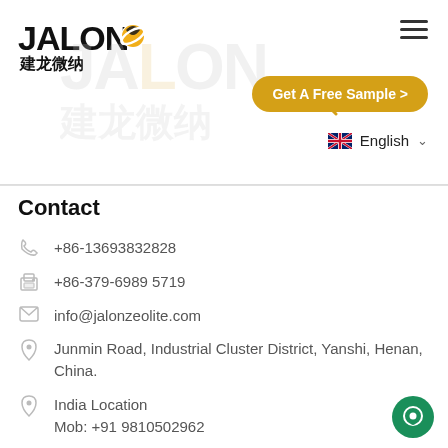[Figure (logo): JALON / 建龙微纳 company logo with stylized leaf/planet icon]
[Figure (screenshot): Hamburger menu icon (three horizontal lines) in top right corner]
[Figure (screenshot): Watermark: large faded JALON text and 建龙微纳 Chinese characters in background]
[Figure (screenshot): Search icon (magnifying glass) in golden/yellow color]
Get A Free Sample >
English
Contact
+86-13693832828
+86-379-6989 5719
info@jalonzeolite.com
Junmin Road, Industrial Cluster District, Yanshi, Henan, China.
India Location
Mob: +91 9810502962